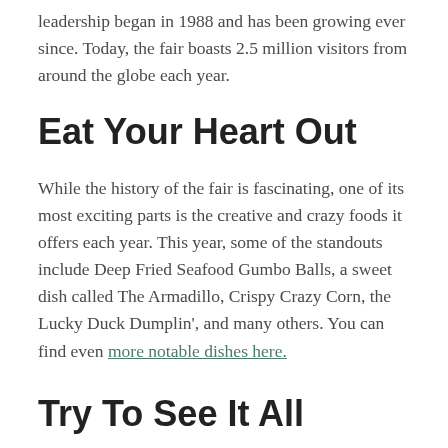leadership began in 1988 and has been growing ever since. Today, the fair boasts 2.5 million visitors from around the globe each year.
Eat Your Heart Out
While the history of the fair is fascinating, one of its most exciting parts is the creative and crazy foods it offers each year. This year, some of the standouts include Deep Fried Seafood Gumbo Balls, a sweet dish called The Armadillo, Crispy Crazy Corn, the Lucky Duck Dumplin', and many others. You can find even more notable dishes here.
Try To See It All
It is almost impossible to see all the fair has to offer in a single visit, but that doesn't mean you shouldn't try. It is